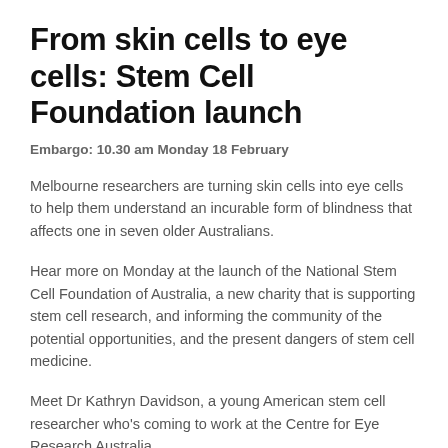From skin cells to eye cells: Stem Cell Foundation launch
Embargo: 10.30 am Monday 18 February
Melbourne researchers are turning skin cells into eye cells to help them understand an incurable form of blindness that affects one in seven older Australians.
Hear more on Monday at the launch of the National Stem Cell Foundation of Australia, a new charity that is supporting stem cell research, and informing the community of the potential opportunities, and the present dangers of stem cell medicine.
Meet Dr Kathryn Davidson, a young American stem cell researcher who's coming to work at the Centre for Eye Research Australia.
Meet a patient the research could help and see the world through her